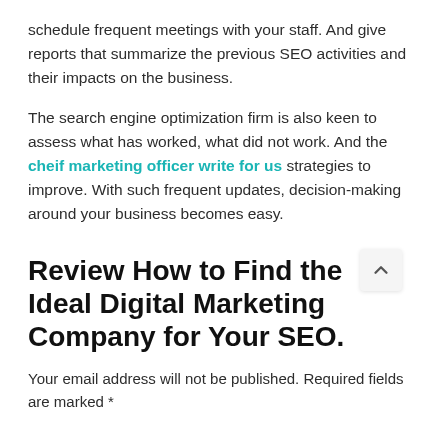schedule frequent meetings with your staff. And give reports that summarize the previous SEO activities and their impacts on the business.
The search engine optimization firm is also keen to assess what has worked, what did not work. And the cheif marketing officer write for us strategies to improve. With such frequent updates, decision-making around your business becomes easy.
Review How to Find the Ideal Digital Marketing Company for Your SEO.
Your email address will not be published. Required fields are marked *